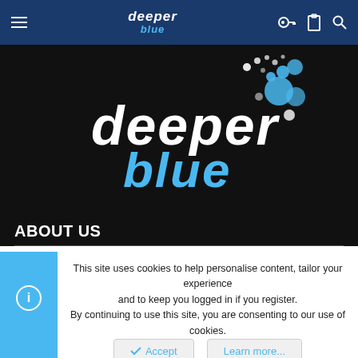deeper blue — navigation bar with hamburger menu, logo, and icons
[Figure (logo): DeeperBlue.com logo: white 'deeper' text and blue 'blue' text with bubble graphic on dark background]
ABOUT US
ISSN 1469-865X | Copyright © 1996 - 2022 deeperblue.net limited.
DeeperBlue.com is the World's Largest Community dedicated to Freediving, Scuba Diving, Spearfishing and Diving Travel.
This site uses cookies to help personalise content, tailor your experience and to keep you logged in if you register.
By continuing to use this site, you are consenting to our use of cookies.